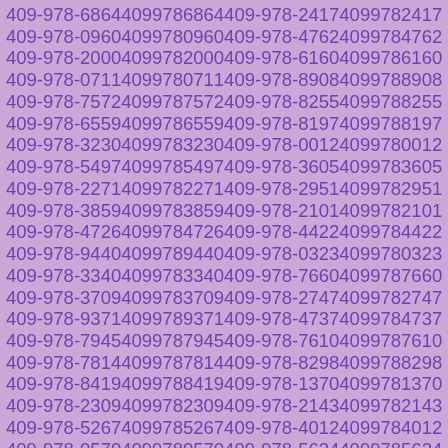| 409-978-6864 | 4099786864 | 409-978-2417 | 4099782417 |
| 409-978-0960 | 4099780960 | 409-978-4762 | 4099784762 |
| 409-978-2000 | 4099782000 | 409-978-6160 | 4099786160 |
| 409-978-0711 | 4099780711 | 409-978-8908 | 4099788908 |
| 409-978-7572 | 4099787572 | 409-978-8255 | 4099788255 |
| 409-978-6559 | 4099786559 | 409-978-8197 | 4099788197 |
| 409-978-3230 | 4099783230 | 409-978-0012 | 4099780012 |
| 409-978-5497 | 4099785497 | 409-978-3605 | 4099783605 |
| 409-978-2271 | 4099782271 | 409-978-2951 | 4099782951 |
| 409-978-3859 | 4099783859 | 409-978-2101 | 4099782101 |
| 409-978-4726 | 4099784726 | 409-978-4422 | 4099784422 |
| 409-978-9440 | 4099789440 | 409-978-0323 | 4099780323 |
| 409-978-3340 | 4099783340 | 409-978-7660 | 4099787660 |
| 409-978-3709 | 4099783709 | 409-978-2747 | 4099782747 |
| 409-978-9371 | 4099789371 | 409-978-4737 | 4099784737 |
| 409-978-7945 | 4099787945 | 409-978-7610 | 4099787610 |
| 409-978-7814 | 4099787814 | 409-978-8298 | 4099788298 |
| 409-978-8419 | 4099788419 | 409-978-1370 | 4099781370 |
| 409-978-2309 | 4099782309 | 409-978-2143 | 4099782143 |
| 409-978-5267 | 4099785267 | 409-978-4012 | 4099784012 |
| 409-978-0570 | 4099780570 | 409-978-5624 | 4099785624 |